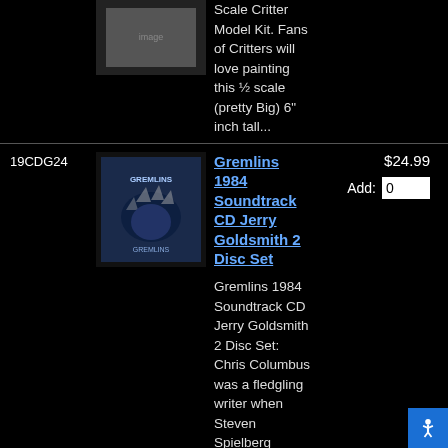Scale Critter Model Kit. Fans of Critters will love painting this ½ scale (pretty Big) 6" inch tall...
19CDG24
[Figure (photo): Gremlins 1984 Soundtrack CD cover art, showing a gremlin hand]
Gremlins 1984 Soundtrack CD Jerry Goldsmith 2 Disc Set
$24.99
Add: 0
Gremlins 1984 Soundtrack CD Jerry Goldsmith 2 Disc Set:   Chris Columbus was a fledgling writer when Steven Spielberg optioned his screenplay...
161NE18
[Figure (illustration): Gremlins 2 Brown Gremlin character illustration, full body, standing]
Gremlins 2 Brown Gremlin Stunt Puppet Prop Replica
$249.99
Add: 0
Gremlins 2 Brown Gremlin Stunt Puppet Prop Replica:   Cast directly from an original film-used stunt puppet! This prop replica is an absolute...